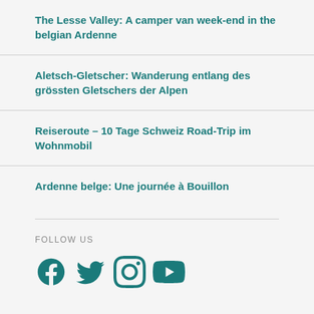The Lesse Valley: A camper van week-end in the belgian Ardenne
Aletsch-Gletscher: Wanderung entlang des grössten Gletschers der Alpen
Reiseroute – 10 Tage Schweiz Road-Trip im Wohnmobil
Ardenne belge: Une journée à Bouillon
FOLLOW US
[Figure (infographic): Social media icons: Facebook, Twitter, Instagram, YouTube in teal color]